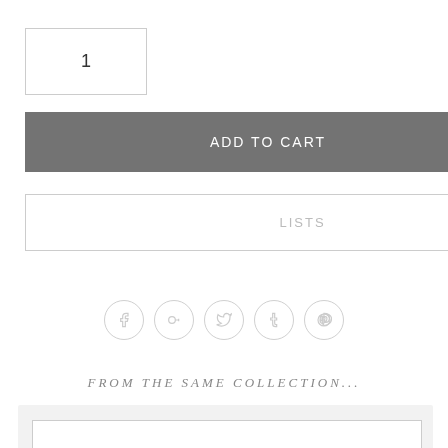1
ADD TO CART
LISTS
[Figure (infographic): Row of 5 social media icons in circles: Facebook, Google+, Twitter, Tumblr, Pinterest]
FROM THE SAME COLLECTION...
HYDRANGEA LEAF 7" RIVIERA
Someone in Austria just bought this!